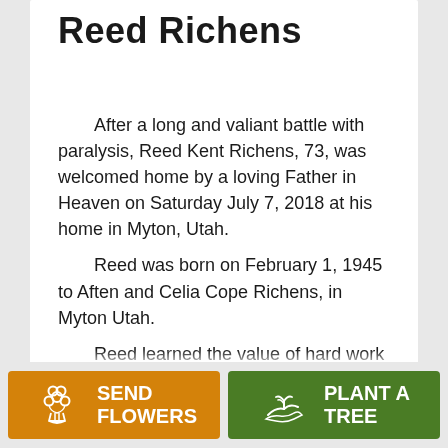Reed Richens
After a long and valiant battle with paralysis, Reed Kent Richens, 73, was welcomed home by a loving Father in Heaven on Saturday July 7, 2018 at his home in Myton, Utah.
Reed was born on February 1, 1945 to Aften and Celia Cope Richens, in Myton Utah.
Reed learned the value of hard work from an early age. He graduated from
SEND FLOWERS | PLANT A TREE